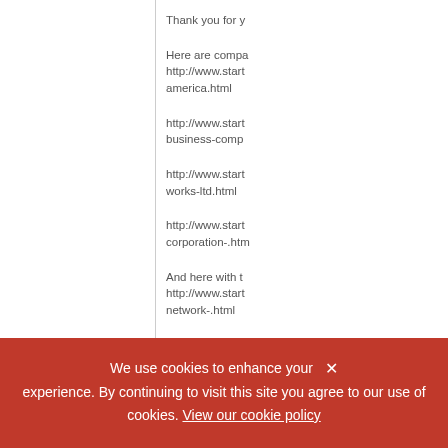Thank you for y
Here are compa http://www.start america.html
http://www.start business-comp
http://www.start works-ltd.html
http://www.start corporation-.htm
And here with t http://www.start network-.html
We use cookies to enhance your experience. By continuing to visit this site you agree to our use of cookies. View our cookie policy